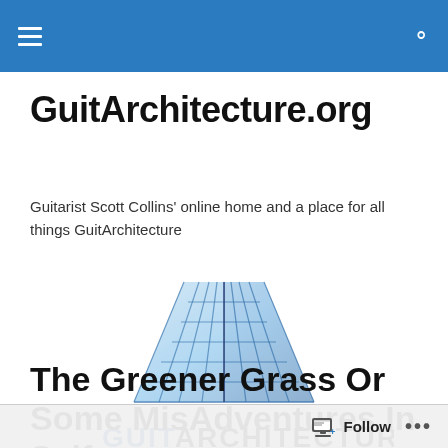GuitArchitecture.org — navigation header with hamburger menu and search icon
GuitArchitecture.org
Guitarist Scott Collins' online home and a place for all things GuitArchitecture
[Figure (logo): GuitArchitecture logo: a 3D grid/lattice of blue squares forming a perspective surface with the text GUITARCHITECTURE below in bold blue letters]
The Greener Grass Or Some MisAdventures In Self
Follow  •••